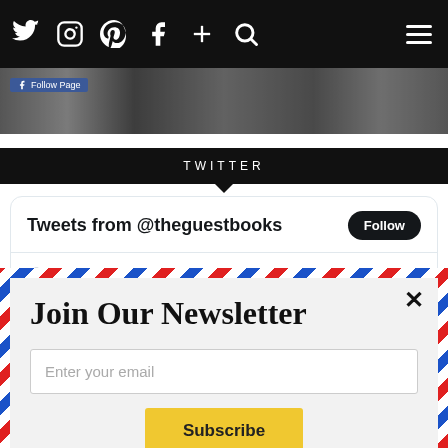Twitter Pinterest Facebook + Search (nav icons)
[Figure (screenshot): Website header with social media icons (Twitter, Instagram, Pinterest, Facebook, Plus, Search) on black background and hamburger menu on right. Below is a black and white photo strip showing a blurry indoor scene.]
TWITTER
[Figure (screenshot): Twitter widget showing 'Tweets from @theguestbooks' with Follow button. Below shows 'The Guestbooks Retweeted' with a teal avatar for 'Lefkada Last... @Lefka · Nov 25, 2020' and Twitter bird icon.]
Join Our Newsletter
Enter your email
Subscribe